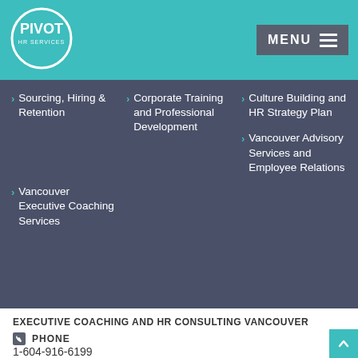[Figure (logo): Pivot HR Services logo — white circle with PIVOT text and HR SERVICES below]
Sourcing, Hiring & Retention
Corporate Training and Professional Development
Culture Building and HR Strategy Plan
Vancouver Advisory Services and Employee Relations
Vancouver Executive Coaching Services
EXECUTIVE COACHING AND HR CONSULTING VANCOUVER
PHONE
1-604-916-6199